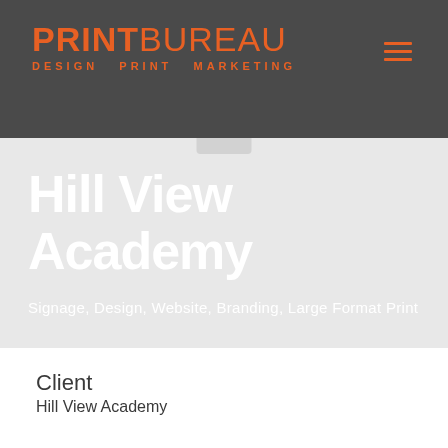PRINTBUREAU DESIGN PRINT MARKETING
Hill View Academy
Signage, Design, Website, Branding, Large Format Print
Client
Hill View Academy